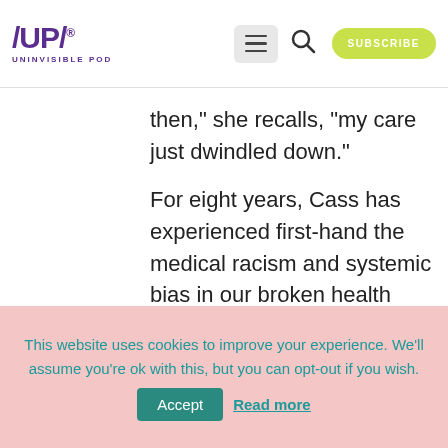/UP/ UNINVISIBLE POD
then,” she recalls, “my care just dwindled down.”
For eight years, Cass has experienced first-hand the medical racism and systemic bias in our broken health care system. Despite her official
This website uses cookies to improve your experience. We’ll assume you’re ok with this, but you can opt-out if you wish.
Accept
Read more